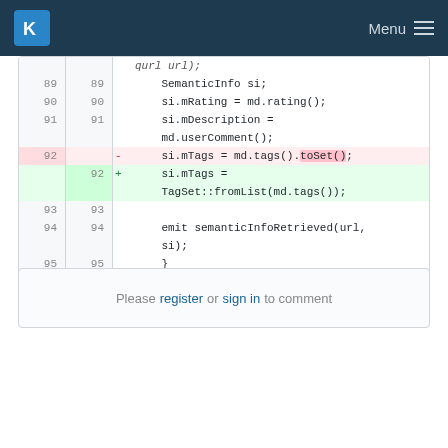KDE Menu
[Figure (screenshot): Code diff view showing lines 89-95 of a C++ file. Line 92 removed: si.mTags = md.tags().toSet(); Line 92 added: si.mTags = TagSet::fromList(md.tags());]
Please register or sign in to comment